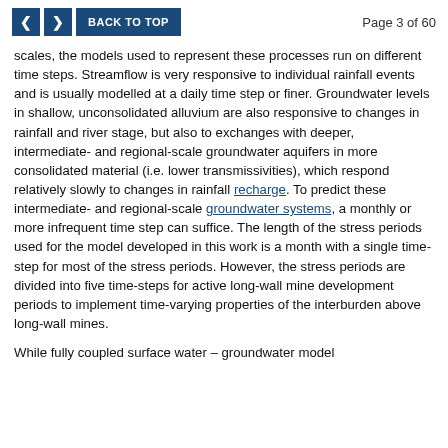‹  ›  BACK TO TOP                                    Page 3 of 60
scales, the models used to represent these processes run on different time steps. Streamflow is very responsive to individual rainfall events and is usually modelled at a daily time step or finer. Groundwater levels in shallow, unconsolidated alluvium are also responsive to changes in rainfall and river stage, but also to exchanges with deeper, intermediate- and regional-scale groundwater aquifers in more consolidated material (i.e. lower transmissivities), which respond relatively slowly to changes in rainfall recharge. To predict these intermediate- and regional-scale groundwater systems, a monthly or more infrequent time step can suffice. The length of the stress periods used for the model developed in this work is a month with a single time-step for most of the stress periods. However, the stress periods are divided into five time-steps for active long-wall mine development periods to implement time-varying properties of the interburden above long-wall mines.
While fully coupled surface water – groundwater model